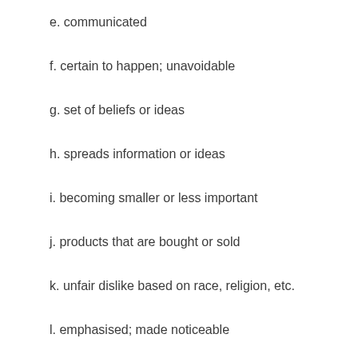e. communicated
f. certain to happen; unavoidable
g. set of beliefs or ideas
h. spreads information or ideas
i. becoming smaller or less important
j. products that are bought or sold
k. unfair dislike based on race, religion, etc.
l. emphasised; made noticeable
LISTENING TO THE LECTURE